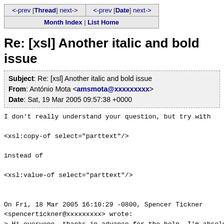| <-prev [Thread] next-> | <-prev [Date] next-> |
| Month Index | List Home |  |
Re: [xsl] Another italic and bold issue
| Subject: Re: [xsl] Another italic and bold issue |
| From: António Mota <amsmota@xxxxxxxxx> |
| Date: Sat, 19 Mar 2005 09:57:38 +0000 |
I don't really understand your question, but try with

<xsl:copy-of select="parttext"/>

instead of

<xsl:value-of select="parttext"/>


On Fri, 18 Mar 2005 16:10:29 -0800, Spencer Tickner
<spencertickner@xxxxxxxxx> wrote:
> Hi everyone, thanks in advance for the help. I'm absolu
> hair out. Here's my xml:
>
> <act>
> <section>
>  <sectionnumber>1.42</sectionnumber>